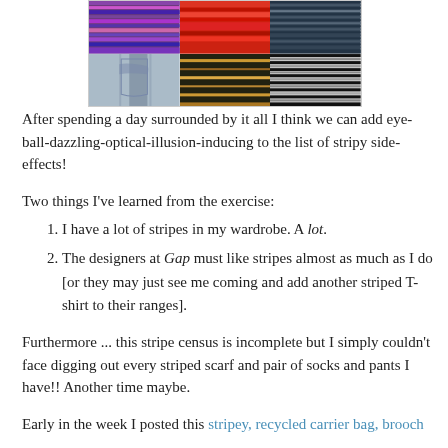[Figure (photo): Grid of six fabric/clothing photos showing various striped patterns - purple/multicolor stripes, red fabric, blue-black knit pattern top row; blue denim with stitching, brown/black/gold horizontal stripes, and black/white geometric stripe pattern bottom row.]
After spending a day surrounded by it all I think we can add eye-ball-dazzling-optical-illusion-inducing to the list of stripy side-effects!
Two things I've learned from the exercise:
I have a lot of stripes in my wardrobe. A lot.
The designers at Gap must like stripes almost as much as I do [or they may just see me coming and add another striped T-shirt to their ranges].
Furthermore ... this stripe census is incomplete but I simply couldn't face digging out every striped scarf and pair of socks and pants I have!! Another time maybe.
Early in the week I posted this stripey, recycled carrier bag, brooch